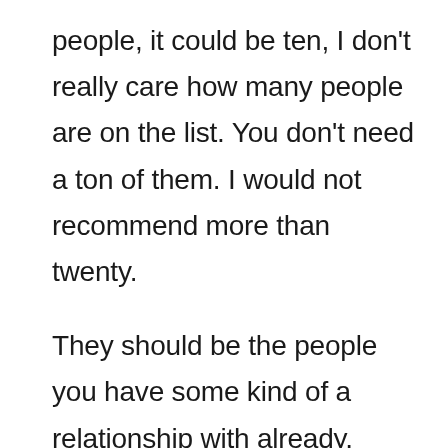people, it could be ten, I don't really care how many people are on the list. You don't need a ton of them. I would not recommend more than twenty.
They should be the people you have some kind of a relationship with already. Hopefully you have been prospecting to some extent already. This could be: